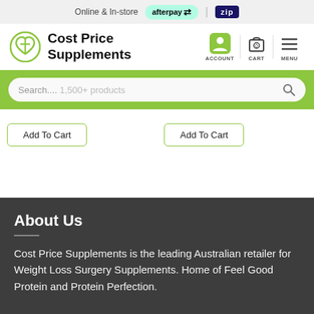Online & In-store | afterpay | zip
[Figure (logo): Cost Price Supplements logo with green heart icon and bold brand name, plus ACCOUNT, CART, MENU navigation icons]
Search.... 1,500+ products
Add To Cart
Add To Cart
About Us
Cost Price Supplements is the leading Australian retailer for Weight Loss Surgery Supplements. Home of Feel Good Protein and Protein Perfection.